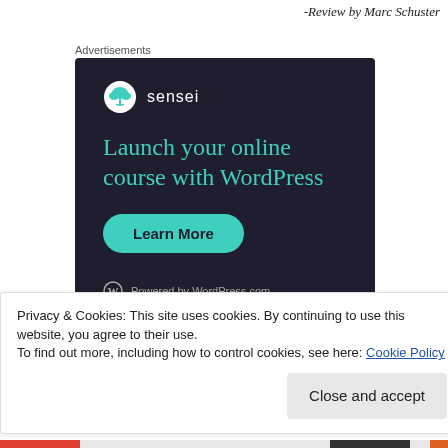-Review by Marc Schuster
Advertisements
[Figure (screenshot): Sensei advertisement: 'Launch your online course with WordPress' with a 'Learn More' button and 'Powered by WordPress.com' at the bottom. Dark navy background with teal text and button.]
Privacy & Cookies: This site uses cookies. By continuing to use this website, you agree to their use.
To find out more, including how to control cookies, see here: Cookie Policy
Close and accept